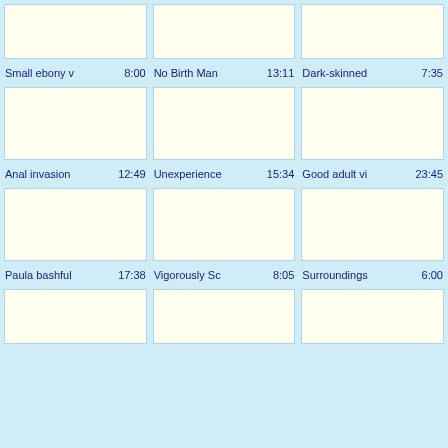[Figure (other): Video thumbnail placeholder - row 1 col 1]
[Figure (other): Video thumbnail placeholder - row 1 col 2]
[Figure (other): Video thumbnail placeholder - row 1 col 3]
Small ebony v  8:00
No Birth Man  13:11
Dark-skinned  7:35
[Figure (other): Video thumbnail placeholder - row 2 col 1]
[Figure (other): Video thumbnail placeholder - row 2 col 2]
[Figure (other): Video thumbnail placeholder - row 2 col 3]
Anal invasion  12:49
Unexperience  15:34
Good adult vi  23:45
[Figure (other): Video thumbnail placeholder - row 3 col 1]
[Figure (other): Video thumbnail placeholder - row 3 col 2]
[Figure (other): Video thumbnail placeholder - row 3 col 3]
Paula bashful  17:38
Vigorously Sc  8:05
Surroundings  6:00
[Figure (other): Video thumbnail placeholder - row 4 col 1]
[Figure (other): Video thumbnail placeholder - row 4 col 2]
[Figure (other): Video thumbnail placeholder - row 4 col 3]